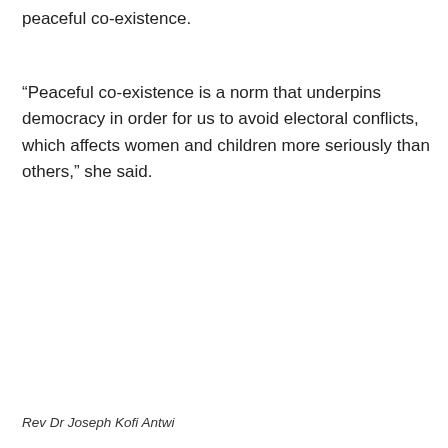peaceful co-existence.
“Peaceful co-existence is a norm that underpins   democracy in order for us to avoid electoral conflicts, which affects women and children more seriously than others,” she said.
Rev Dr Joseph Kofi Antwi